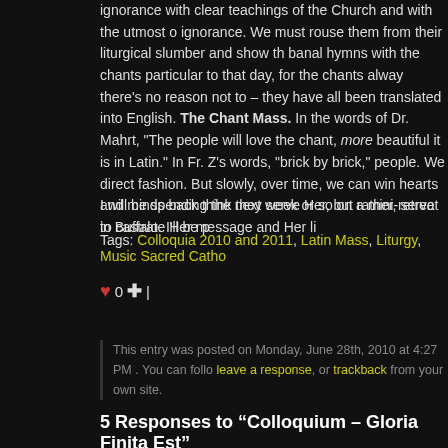ignorance with clear teachings of the Church and with the utmost of ignorance. We must rouse them from their liturgical slumber and show th banal hymns with the chants particular to that day, for the chants alway there's no reason not to – they have all been translated into English. The Chant Mass. In the words of Dr. Mahrt, "The people will love the chant, more beautiful it is in Latin." In Fr. Z's words, "brick by brick," people. We direct fashion. But slowly, over time, we can win hearts and minds back think they serve Her, but rather, serve to castrate Her message and Her li
I will be spending the next week or so on a mini-retreat in Buffalo. I'll be p
Tags: Colloquia 2010 and 2011, Latin Mass, Liturgy, Music Sacred Catho
♥ 0 + |
This entry was posted on Monday, June 28th, 2010 at 4:27 PM . You can follo leave a response, or trackback from your own site.
5 Responses to “Colloquium – Gloria Finita Est”
Nerina says:
June 28, 2010 at 7:16 PM